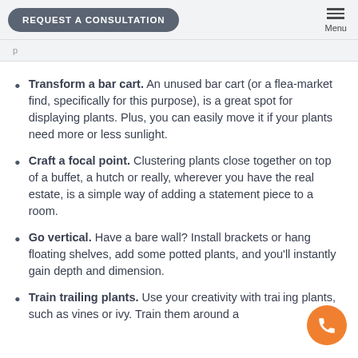REQUEST A CONSULTATION | Menu
Transform a bar cart. An unused bar cart (or a flea-market find, specifically for this purpose), is a great spot for displaying plants. Plus, you can easily move it if your plants need more or less sunlight.
Craft a focal point. Clustering plants close together on top of a buffet, a hutch or really, wherever you have the real estate, is a simple way of adding a statement piece to a room.
Go vertical. Have a bare wall? Install brackets or hang floating shelves, add some potted plants, and you'll instantly gain depth and dimension.
Train trailing plants. Use your creativity with trailing plants, such as vines or ivy. Train them around a